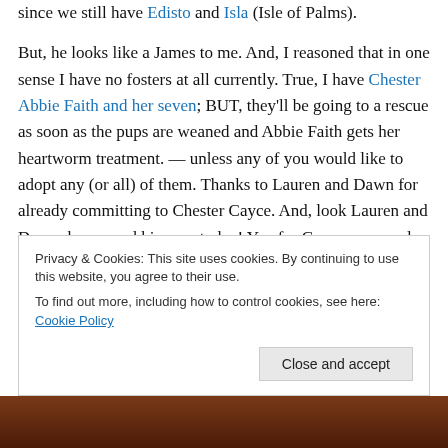since we still have Edisto and Isla (Isle of Palms).

But, he looks like a James to me. And, I reasoned that in one sense I have no fosters at all currently. True, I have Chester Abbie Faith and her seven; BUT, they'll be going to a rescue as soon as the pups are weaned and Abbie Faith gets her heartworm treatment. — unless any of you would like to adopt any (or all) of them. Thanks to Lauren and Dawn for already committing to Chester Cayce. And, look Lauren and Dawn: he opened his eyes today! Yay for Cayce, renamed Truman.
Privacy & Cookies: This site uses cookies. By continuing to use this website, you agree to their use.
To find out more, including how to control cookies, see here: Cookie Policy
[Figure (photo): Bottom strip showing a partial photo, dark reddish-brown tones]